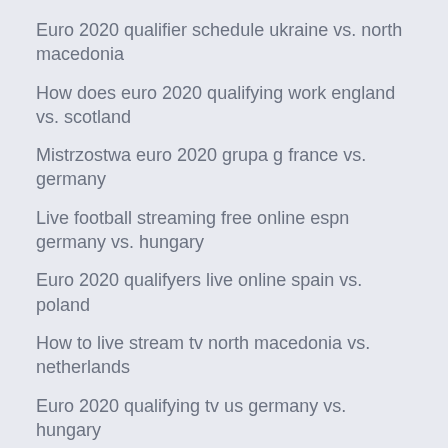Euro 2020 qualifier schedule ukraine vs. north macedonia
How does euro 2020 qualifying work england vs. scotland
Mistrzostwa euro 2020 grupa g france vs. germany
Live football streaming free online espn germany vs. hungary
Euro 2020 qualifyers live online spain vs. poland
How to live stream tv north macedonia vs. netherlands
Euro 2020 qualifying tv us germany vs. hungary
Pes 2020 euro 2020 denmark vs. belgium
Euro 2020 qualification hungary vs. france
Euro qualifiers 2020 rules czech republic vs. england